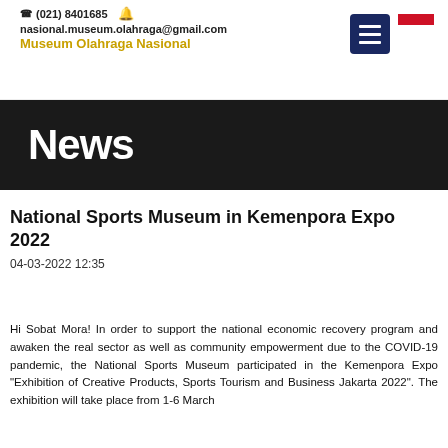☎ (021) 8401685  nasional.museum.olahraga@gmail.com  Museum Olahraga Nasional
News
National Sports Museum in Kemenpora Expo 2022
04-03-2022 12:35
Hi Sobat Mora! In order to support the national economic recovery program and awaken the real sector as well as community empowerment due to the COVID-19 pandemic, the National Sports Museum participated in the Kemenpora Expo "Exhibition of Creative Products, Sports Tourism and Business Jakarta 2022". The exhibition will take place from 1-6 March